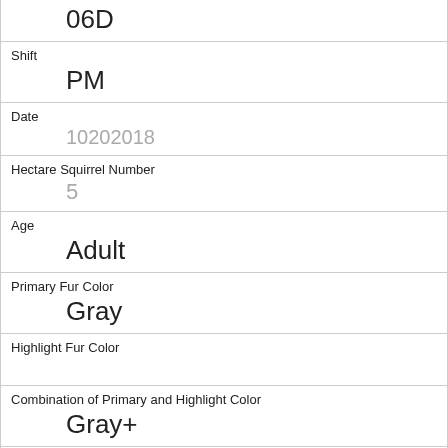06D
Shift
PM
Date
10202018
Hectare Squirrel Number
5
Age
Adult
Primary Fur Color
Gray
Highlight Fur Color
Combination of Primary and Highlight Color
Gray+
Color notes
Location
Ground Plane
Above Ground Sighter Measurement